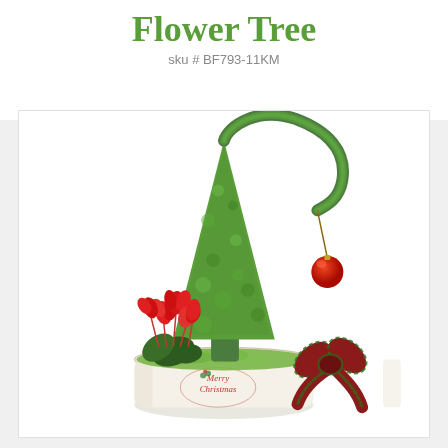Flower Tree
sku # BF793-11KM
[Figure (photo): A whimsical Grinch-style drooping green topiary tree with a curved top and a hanging red ornament, planted in a white ceramic 'Merry Christmas' pot with red cyclamen flowers, green moss, and a plaid ribbon bow decoration.]